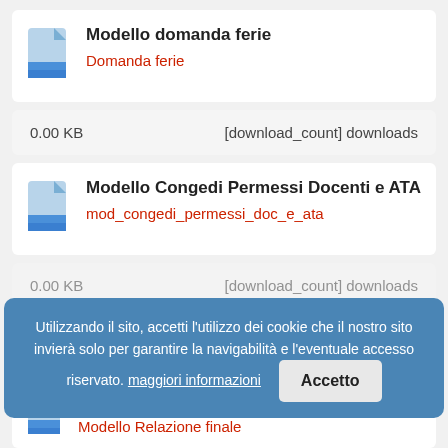Modello domanda ferie
Domanda ferie
0.00 KB	[download_count] downloads
Modello Congedi Permessi Docenti e ATA
mod_congedi_permessi_doc_e_ata
0.00 KB	[download_count] downloads
Utilizzando il sito, accetti l'utilizzo dei cookie che il nostro sito invierà solo per garantire la navigabilità e l'eventuale accesso riservato. maggiori informazioni
Modello Relazione finale
Modello Relazione finale